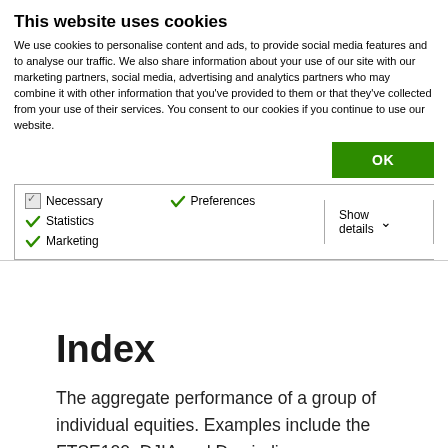This website uses cookies
We use cookies to personalise content and ads, to provide social media features and to analyse our traffic. We also share information about your use of our site with our marketing partners, social media, advertising and analytics partners who may combine it with other information that you've provided to them or that they've collected from your use of their services. You consent to our cookies if you continue to use our website.
OK
Necessary  Preferences  Statistics  Marketing  Show details
Index
The aggregate performance of a group of individual equities. Examples include the FTSE100, DJIA and Dax indices.